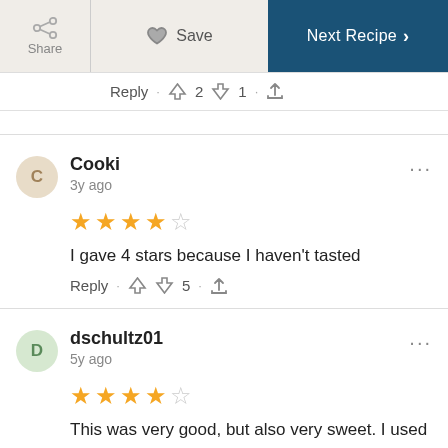Share | Save | Next Recipe
Reply · 👍 2 👎 1 · share
Cooki
3y ago
★★★★☆
I gave 4 stars because I haven't tasted
Reply · 👍 👎 5 · share
dschultz01
5y ago
★★★★☆
This was very good, but also very sweet.  I used a 9x9 pan because an 8x8 seemed way too small.  It still overflowed a little while baking, so be sure to put something under it.